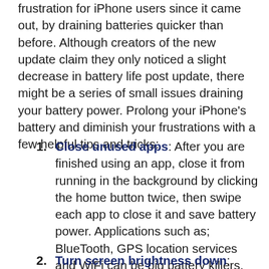frustration for iPhone users since it came out, by draining batteries quicker than before. Although creators of the new update claim they only noticed a slight decrease in battery life post update, there might be a series of small issues draining your battery power. Prolong your iPhone's battery and diminish your frustrations with a few helpful tips and tricks:
Close unused apps: After you are finished using an app, close it from running in the background by clicking the home button twice, then swipe each app to close it and save battery power. Applications such as; BlueTooth, GPS location services and WiFi can be big battery killers, close those services when not in use.
Turn screen brightness down: